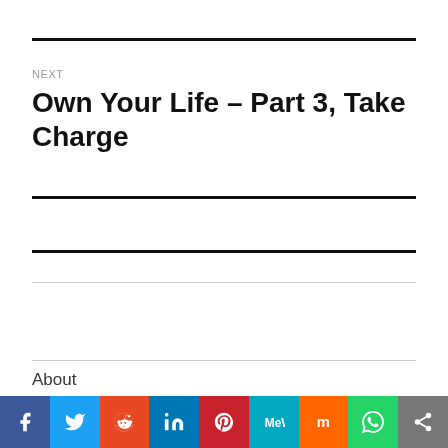NEXT
Own Your Life – Part 3, Take Charge
About
Evren Recommends